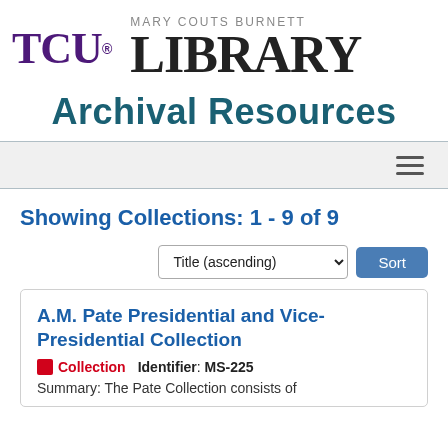[Figure (logo): TCU Mary Couts Burnett Library logo — TCU in purple serif font, MARY COUTS BURNETT in grey uppercase, LIBRARY in large black serif font]
Archival Resources
[Figure (other): Navigation hamburger menu icon (three horizontal lines) on a light grey bar]
Showing Collections: 1 - 9 of 9
Title (ascending) Sort
A.M. Pate Presidential and Vice-Presidential Collection
Collection   Identifier: MS-225
Summary: The Pate Collection consists of...